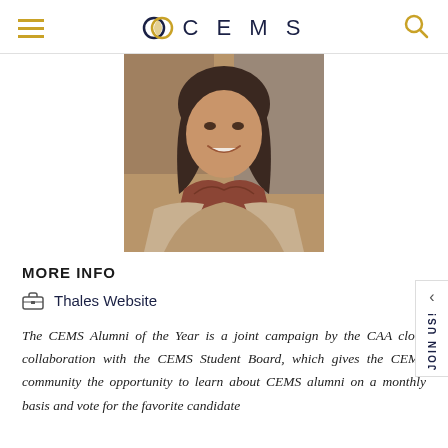CEMS
[Figure (photo): Profile photo of a young woman with dark hair, smiling, wearing a patterned scarf and light jacket, indoor setting with brick wall background]
MORE INFO
Thales Website
The CEMS Alumni of the Year is a joint campaign by the CAA close collaboration with the CEMS Student Board, which gives the CEMS community the opportunity to learn about CEMS alumni on a monthly basis and vote for the favorite candidate